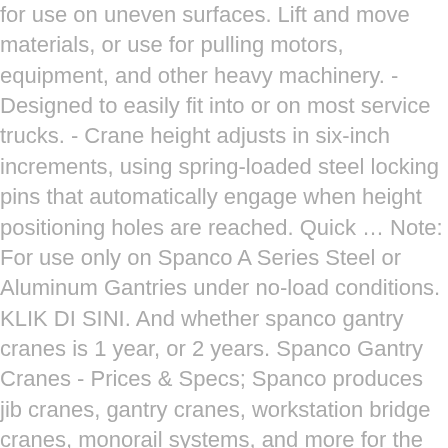for use on uneven surfaces. Lift and move materials, or use for pulling motors, equipment, and other heavy machinery. - Designed to easily fit into or on most service trucks. - Crane height adjusts in six-inch increments, using spring-loaded steel locking pins that automatically engage when height positioning holes are reached. Quick … Note: For use only on Spanco A Series Steel or Aluminum Gantries under no-load conditions. KLIK DI SINI. And whether spanco gantry cranes is 1 year, or 2 years. Spanco Gantry Cranes - Prices & Specs; Spanco produces jib cranes, gantry cranes, workstation bridge cranes, monorail systems, and more for the lifting and manipulation of heavy components in manufacturing, shipping, and warehousing applications. Spanco 2,000 Lb Steel Gantry Crane - 10'6" to 4'0" High, 11.5' Span MSC #: 89844039. whcrane 2020-06-12. dickie mega crane accessories . Excellent gantries for warehouses and welding shops. Spanco is a leading american manufacturer in the overhead crane industry offering solutions such as workstation bridge cranes.